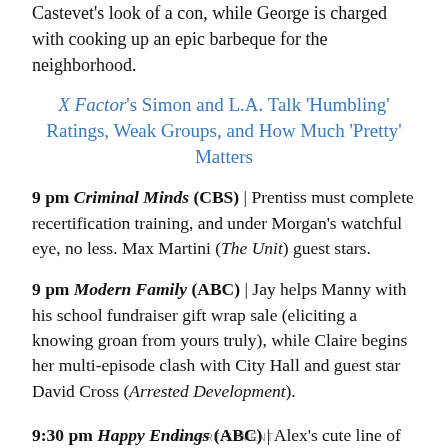Castevet's look of a con, while George is charged with cooking up an epic barbeque for the neighborhood.
X Factor's Simon and L.A. Talk 'Humbling' Ratings, Weak Groups, and How Much 'Pretty' Matters
9 pm Criminal Minds (CBS) | Prentiss must complete recertification training, and under Morgan's watchful eye, no less. Max Martini (The Unit) guest stars.
9 pm Modern Family (ABC) | Jay helps Manny with his school fundraiser gift wrap sale (eliciting a knowing groan from yours truly), while Claire begins her multi-episode clash with City Hall and guest star David Cross (Arrested Development).
ADVERTISEMENT
9:30 pm Happy Endings (ABC) | Alex's cute line of